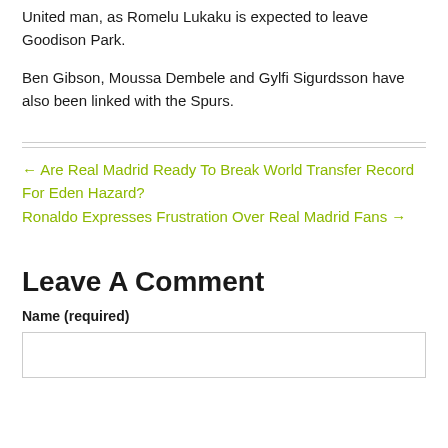United man, as Romelu Lukaku is expected to leave Goodison Park.
Ben Gibson, Moussa Dembele and Gylfi Sigurdsson have also been linked with the Spurs.
← Are Real Madrid Ready To Break World Transfer Record For Eden Hazard?
Ronaldo Expresses Frustration Over Real Madrid Fans →
Leave A Comment
Name (required)